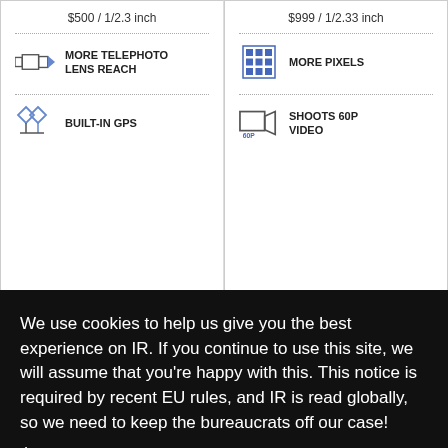$500 / 1/2.3 inch
$999 / 1/2.33 inch
MORE TELEPHOTO LENS REACH
MORE PIXELS
BUILT-IN GPS
SHOOTS 60P VIDEO
We use cookies to help us give you the best experience on IR. If you continue to use this site, we will assume that you're happy with this. This notice is required by recent EU rules, and IR is read globally, so we need to keep the bureaucrats off our case!
Learn more
Got it!